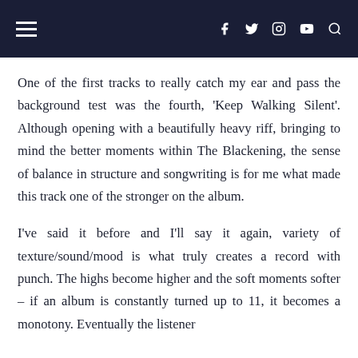navigation bar with hamburger menu and social icons (f, twitter, instagram, youtube, search)
One of the first tracks to really catch my ear and pass the background test was the fourth, 'Keep Walking Silent'. Although opening with a beautifully heavy riff, bringing to mind the better moments within The Blackening, the sense of balance in structure and songwriting is for me what made this track one of the stronger on the album.
I've said it before and I'll say it again, variety of texture/sound/mood is what truly creates a record with punch. The highs become higher and the soft moments softer – if an album is constantly turned up to 11, it becomes a monotony. Eventually the listener